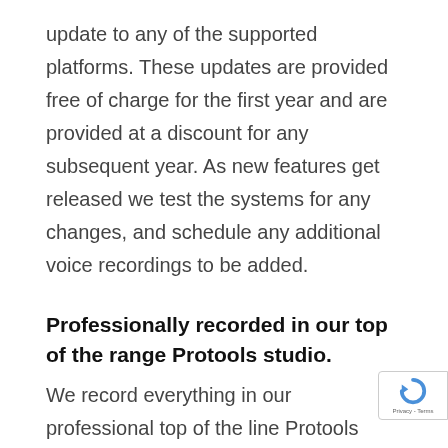update to any of the supported platforms. These updates are provided free of charge for the first year and are provided at a discount for any subsequent year. As new features get released we test the systems for any changes, and schedule any additional voice recordings to be added.
Professionally recorded in our top of the range Protools studio.
We record everything in our professional top of the line Protools equipped studios. There acoustically designed by professional acoustic architects for accurate audio monitoring ensuring every voice prompt sounds the same on the